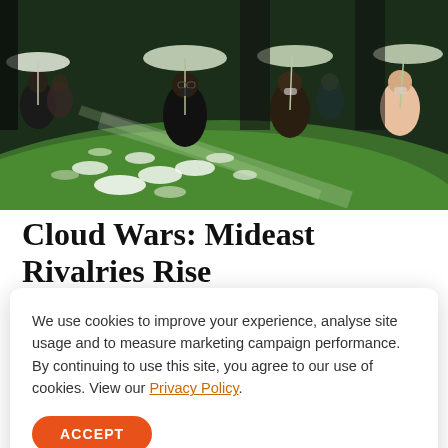[Figure (photo): People wearing masks holding translucent umbrellas in a dark art installation space with green and white circular projections on a curved floor surface.]
Cloud Wars: Mideast Rivalries Rise Above New Front
We use cookies to improve your experience, analyse site usage and to measure marketing campaign performance. By continuing to use this site, you agree to our use of cookies. View our Privacy Policy.
ACCEPT
MELBOURNE, Australia — When Capt. James Cook sailed to Australia in 1788, he did so with instructions that he